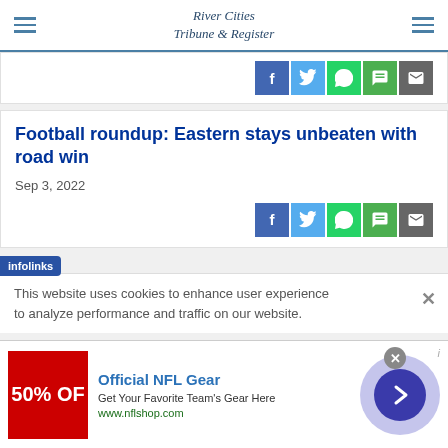River Cities Tribune & Register
[Figure (screenshot): Share buttons row: Facebook (blue), Twitter (light blue), WhatsApp (green), Chat (green), Email (grey)]
Football roundup: Eastern stays unbeaten with road win
Sep 3, 2022
[Figure (screenshot): Share buttons row: Facebook (blue), Twitter (light blue), WhatsApp (green), Chat (green), Email (grey)]
This website uses cookies to enhance user experience to analyze performance and traffic on our website.
[Figure (screenshot): Infolinks ad banner: Official NFL Gear - Get Your Favorite Team's Gear Here, www.nflshop.com, with 50% OFF red image and navigation arrow]